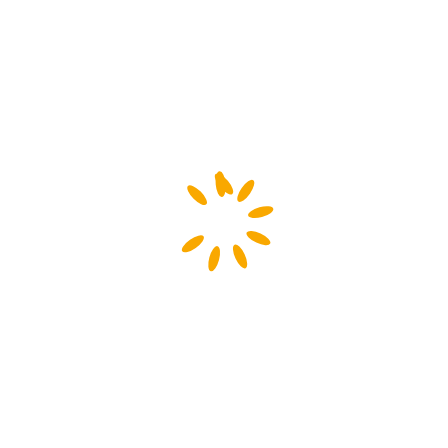[Figure (illustration): A circular loading spinner graphic composed of 10 orange/amber elongated oval dashes arranged in a ring, each rotated to follow the circular path, on a white background.]